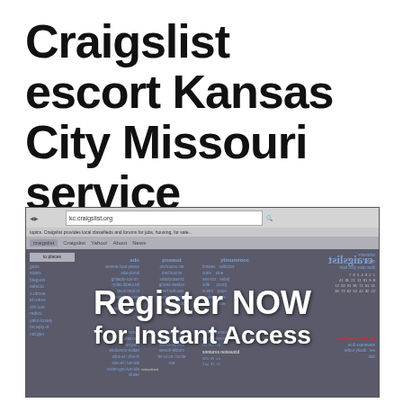Craigslist escort Kansas City Missouri service
[Figure (screenshot): A mirrored/flipped screenshot of the Craigslist website showing various category links, with a white overlay text reading 'Register NOW for Instant Access']